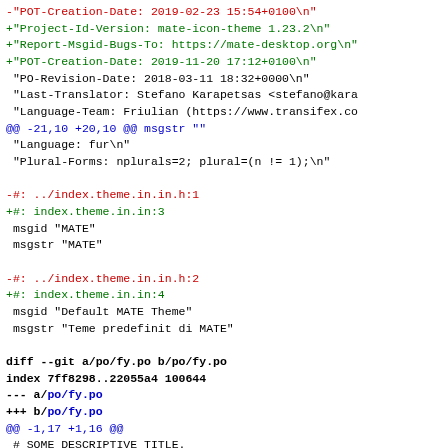-"POT-Creation-Date: 2019-02-23 15:54+0100\n"
+"Project-Id-Version: mate-icon-theme 1.23.2\n"
+"Report-Msgid-Bugs-To: https://mate-desktop.org\n"
+"POT-CREATION-DATE: 2019-11-20 17:12+0100\n"
 "PO-Revision-Date: 2018-03-11 18:32+0000\n"
 "Last-Translator: Stefano Karapetsas <stefano@kara
 "Language-Team: Friulian (https://www.transifex.co
@@ -21,10 +20,10 @@ msgstr ""
 "Language: fur\n"
 "Plural-Forms: nplurals=2; plural=(n != 1);\n"

-#: ../index.theme.in.in.h:1
+#: index.theme.in.in:3
 msgid "MATE"
 msgstr "MATE"

-#: ../index.theme.in.in.h:2
+#: index.theme.in.in:4
 msgid "Default MATE Theme"
 msgstr "Teme predefinit di MATE"

diff --git a/po/fy.po b/po/fy.po
index 7ff8298..22055a4 100644
--- a/po/fy.po
+++ b/po/fy.po
@@ -1,17 +1,16 @@
 # SOME DESCRIPTIVE TITLE.
-# Copyright (C) YEAR THE PACKAGE'S COPYRIGHT HOLDE
-# This file is distributed under the same license
+# Copyright (C) YEAR MATE Desktop Environment team